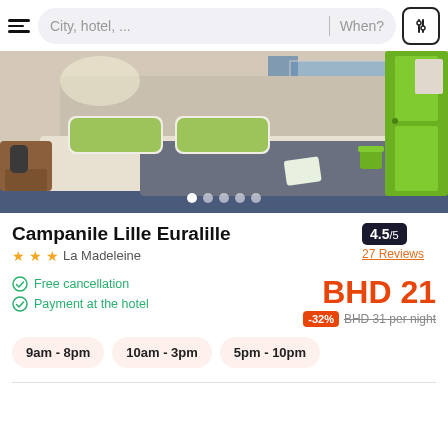[Figure (screenshot): Mobile app search bar with hamburger menu, city/hotel search input, 'When?' placeholder and filter icon]
[Figure (photo): Hotel room photo showing a double bed with green pillows, wooden nightstand, green wardrobe, blue floor carpet, and a desk near the window with blue curtains. Image carousel dots at bottom.]
Campanile Lille Euralille
★★★  La Madeleine
4.5/5
27 Reviews
Free cancellation
Payment at the hotel
BHD 21
-32%  BHD 31 per night
9am - 8pm
10am - 3pm
5pm - 10pm